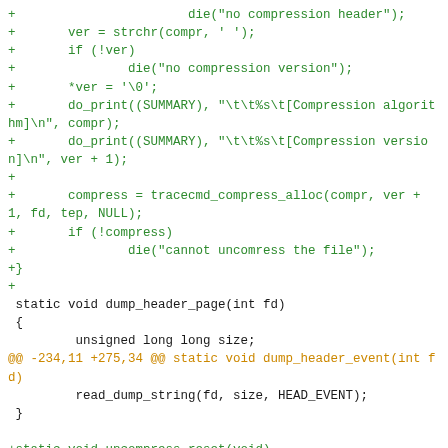[Figure (screenshot): A code diff/patch view showing C source code changes. Green lines prefixed with '+' show added lines, black lines show context lines, and orange lines show diff hunk headers. The code involves compression-related functions including dump_header_page, uncompress_reset, and related utility calls.]